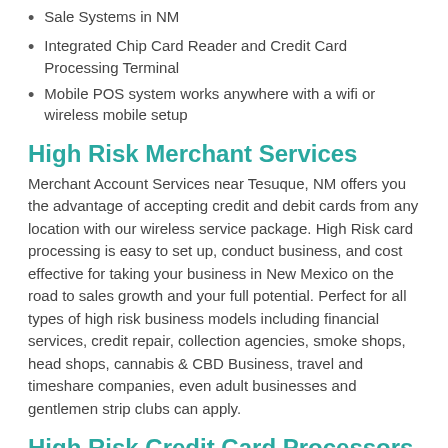Sale Systems in NM
Integrated Chip Card Reader and Credit Card Processing Terminal
Mobile POS system works anywhere with a wifi or wireless mobile setup
High Risk Merchant Services
Merchant Account Services near Tesuque, NM offers you the advantage of accepting credit and debit cards from any location with our wireless service package. High Risk card processing is easy to set up, conduct business, and cost effective for taking your business in New Mexico on the road to sales growth and your full potential. Perfect for all types of high risk business models including financial services, credit repair, collection agencies, smoke shops, head shops, cannabis & CBD Business, travel and timeshare companies, even adult businesses and gentlemen strip clubs can apply.
High Risk Credit Card Processors NM
Here are some of the added advantages that our high risk service plan offers customers that take their business on the road.
Virtual Terminal Process credit and debit card transactions from any location without the necessity of a fixed or hardline